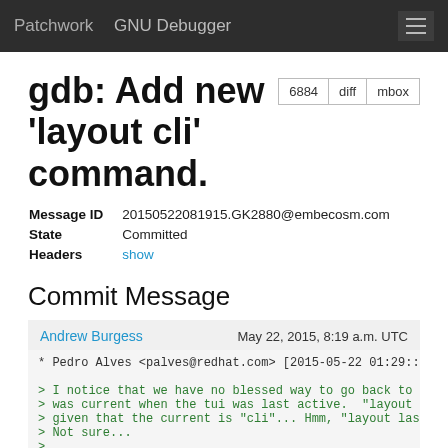Patchwork   GNU Debugger
gdb: Add new 'layout cli' command.
| Message ID | 20150522081915.GK2880@embecosm.com |
| State | Committed |
| Headers | show |
Commit Message
Andrew Burgess   May 22, 2015, 8:19 a.m. UTC
* Pedro Alves <palves@redhat.com> [2015-05-22 01:29::
> I notice that we have no blessed way to go back to
> was current when the tui was last active.  "layout
> given that the current is "cli"... Hmm, "layout las
> Not sure...
>